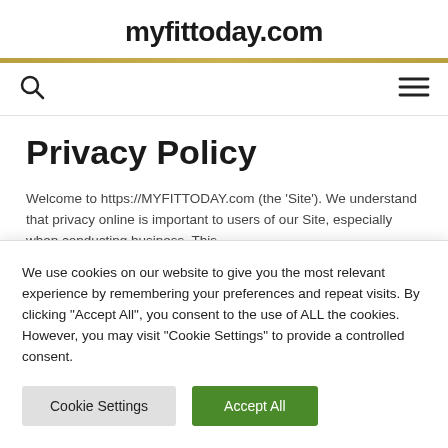myfittoday.com
[Figure (other): Navigation bar with search icon on left and hamburger menu icon on right]
Privacy Policy
Welcome to https://MYFITTODAY.com (the 'Site'). We understand that privacy online is important to users of our Site, especially when conducting business. This
We use cookies on our website to give you the most relevant experience by remembering your preferences and repeat visits. By clicking "Accept All", you consent to the use of ALL the cookies. However, you may visit "Cookie Settings" to provide a controlled consent.
Cookie Settings | Accept All